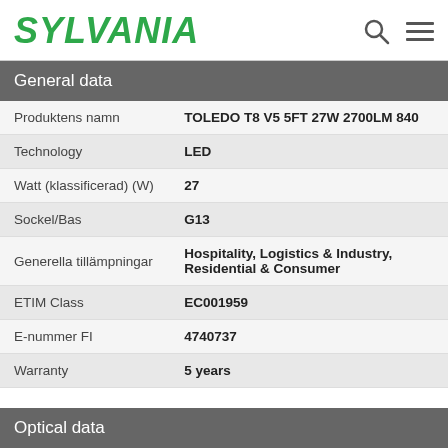SYLVANIA
General data
| Property | Value |
| --- | --- |
| Produktens namn | TOLEDO T8 V5 5FT 27W 2700LM 840 |
| Technology | LED |
| Watt (klassificerad) (W) | 27 |
| Sockel/Bas | G13 |
| Generella tillämpningar | Hospitality, Logistics & Industry, Residential & Consumer |
| ETIM Class | EC001959 |
| E-nummer FI | 4740737 |
| Warranty | 5 years |
Optical data